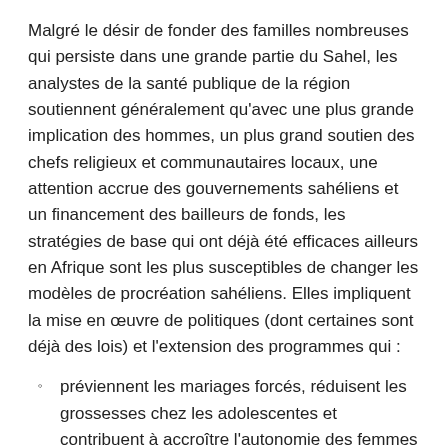Malgré le désir de fonder des familles nombreuses qui persiste dans une grande partie du Sahel, les analystes de la santé publique de la région soutiennent généralement qu'avec une plus grande implication des hommes, un plus grand soutien des chefs religieux et communautaires locaux, une attention accrue des gouvernements sahéliens et un financement des bailleurs de fonds, les stratégies de base qui ont déjà été efficaces ailleurs en Afrique sont les plus susceptibles de changer les modèles de procréation sahéliens. Elles impliquent la mise en œuvre de politiques (dont certaines sont déjà des lois) et l'extension des programmes qui :
préviennent les mariages forcés, réduisent les grossesses chez les adolescentes et contribuent à accroître l'autonomie des femmes et leur accès aux opportunités sociales et économiques ;
s'efforcent de retenir les filles au-delà du niveau